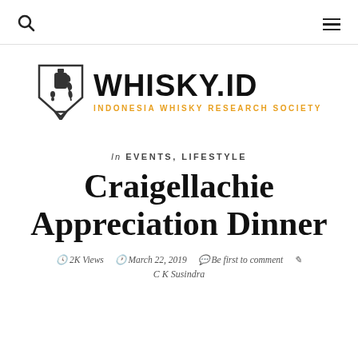🔍  ≡
[Figure (logo): Whisky.ID logo with shield emblem and text WHISKY.ID INDONESIA WHISKY RESEARCH SOCIETY]
In EVENTS, LIFESTYLE
Craigellachie Appreciation Dinner
2K Views  March 22, 2019  Be first to comment  C K Susindra